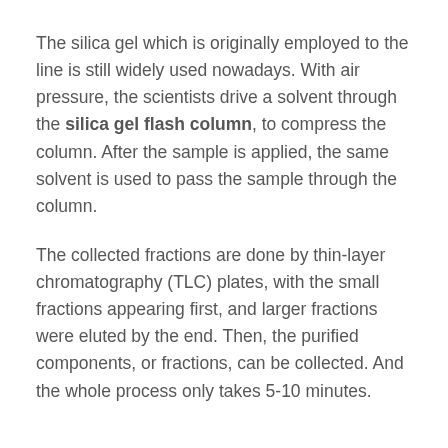The silica gel which is originally employed to the line is still widely used nowadays. With air pressure, the scientists drive a solvent through the silica gel flash column, to compress the column. After the sample is applied, the same solvent is used to pass the sample through the column.
The collected fractions are done by thin-layer chromatography (TLC) plates, with the small fractions appearing first, and larger fractions were eluted by the end. Then, the purified components, or fractions, can be collected. And the whole process only takes 5-10 minutes.